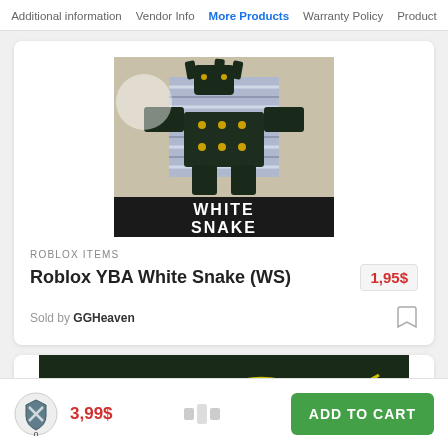Additional information   Vendor Info   More Products   Warranty Policy   Product
[Figure (screenshot): A Roblox game character (White Snake stand) with blue-striped armor and dark green/black stand parts, with 'WHITE SNAKE' text on a black banner at bottom of image]
ROBLOX ITEMS
Roblox YBA White Snake (WS)
1,95$
Sold by GGHeaven
[Figure (screenshot): Partial view of a second product card with a dark green background]
3,99$
ADD TO CART